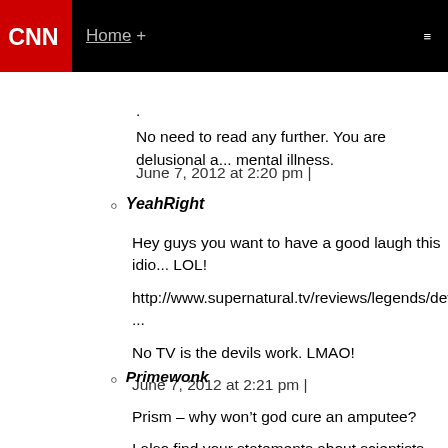CNN Home +
.
No need to read any further. You are delusional a... mental illness.
June 7, 2012 at 2:20 pm |
YeahRight
Hey guys you want to have a good laugh this idio... LOL!
http://www.supernatural.tv/reviews/legends/devi...
No TV is the devils work. LMAO!
June 7, 2012 at 2:21 pm |
Primewonk
Prism – why won't god cure an amputee?
I also find your statements about scientists being...